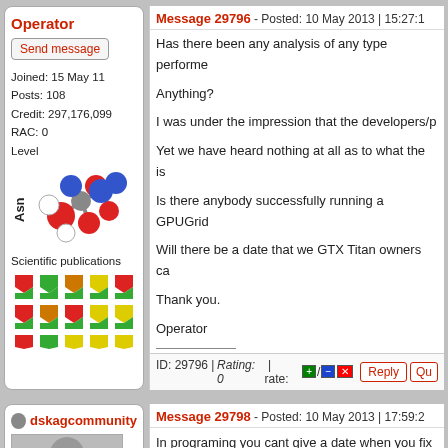Operator
Send message
Joined: 15 May 11
Posts: 108
Credit: 297,176,099
RAC: 0
Level
[Figure (illustration): Asparagine (Asn) molecular structure illustration with colored spheres]
Scientific publications
[Figure (illustration): Grid of scientific publication badge icons in red, green, orange, yellow colors]
Message 29796 - Posted: 10 May 2013 | 15:27:1
Has there been any analysis of any type performe
Anything?
I was under the impression that the developers/p
Yet we have heard nothing at all as to what the is
Is there anybody successfully running a GPUGrid
Will there be a date that we GTX Titan owners ca
Thank you.
Operator
ID: 29796 | Rating: 0 | rate: / | Reply | Qu
dskagcommunity
Message 29798 - Posted: 10 May 2013 | 17:59:2
In programing you cant give a date when you fix